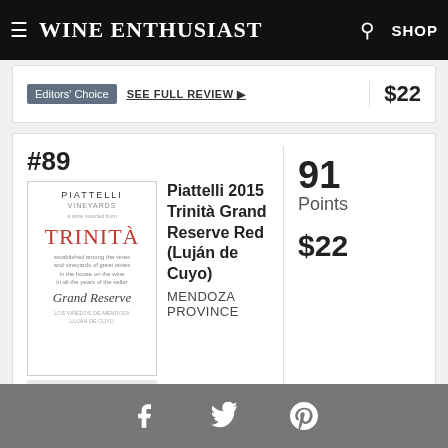Wine Enthusiast  SHOP
Editors' Choice  SEE FULL REVIEW ▶  $22
#89
[Figure (photo): Wine bottle label for Piattelli Trinità Grand Reserve]
Piattelli 2015 Trinità Grand Reserve Red (Luján de Cuyo)
MENDOZA PROVINCE
Ripe berry and fig aromas come with oak-based vanilla, cedar and tobacco ...
SEE FULL REVIEW ▶
91 Points  $22
Facebook  Twitter  Pinterest